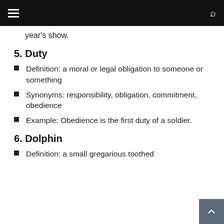year's show.
5. Duty
Definition: a moral or legal obligation to someone or something
Synonyms: responsibility, obligation, commitment, obedience
Example: Obedience is the first duty of a soldier.
6. Dolphin
Definition: a small gregarious toothed